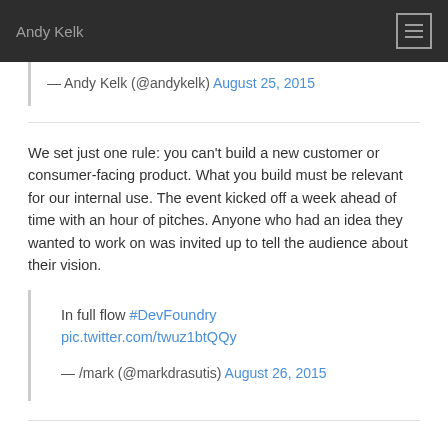Andy Kelk
— Andy Kelk (@andykelk) August 25, 2015
We set just one rule: you can't build a new customer or consumer-facing product. What you build must be relevant for our internal use. The event kicked off a week ahead of time with an hour of pitches. Anyone who had an idea they wanted to work on was invited up to tell the audience about their vision.
In full flow #DevFoundry pic.twitter.com/twuz1btQQy
— /mark (@markdrasutis) August 26, 2015